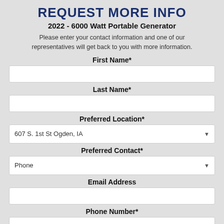REQUEST MORE INFO
2022 - 6000 Watt Portable Generator
Please enter your contact information and one of our representatives will get back to you with more information.
First Name*
Last Name*
Preferred Location*
607 S. 1st St Ogden, IA
Preferred Contact*
Phone
Email Address
Phone Number*